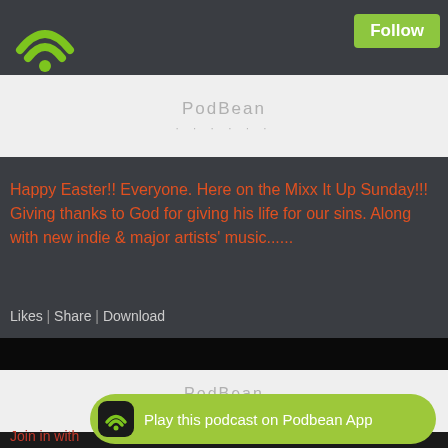[Figure (screenshot): Podbean podcast app interface showing green WiFi-style logo icon on dark header bar]
Follow
[Figure (screenshot): Podbean audio player card, light grey background with PodBean watermark and dots]
Happy Easter!! Everyone. Here on the Mixx It Up Sunday!!! Giving thanks to God for giving his life for our sins. Along with new indie & major artists' music......
Likes | Share | Download
[Figure (screenshot): Dark/black episode card image with THE BRAND OF US title in red]
April 16th, 2022
[Figure (screenshot): Podbean audio player card, light grey background with PodBean watermark and dots]
Join in with
Play this podcast on Podbean App